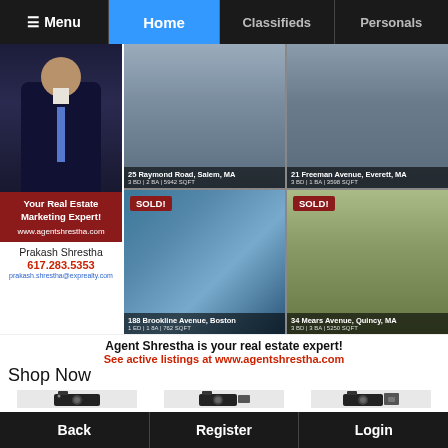Menu  Home  Classifieds  Personals
[Figure (photo): Real estate agent Prakash Shrestha headshot photo in suit and tie]
Your Real Estate Marketing Expert!
www.agentshrestha.com
Prakash Shrestha
617.283.5353
prakash.shrestha@exprealty.com
[Figure (photo): 25 Raymond Road, Salem, MA - 3 BD | 2 BA | 5942 SQFT - house exterior photo]
[Figure (photo): 21 Freeman Avenue, Everett, MA - 3 BD | 1 BA | 3598 SQFT - house exterior photo]
[Figure (photo): 188 Brookline Avenue, Boston - 1 BD | 1 BA | 762 SQFT - SOLD! modern glass building photo]
[Figure (photo): 34 Mears Avenue, Quincy, MA - 3 BD | 3 BA | 5250 SQFT - SOLD! house exterior photo]
Agent Shrestha is your real estate expert!
See active listings at www.agentshrestha.com
Shop Now
[Figure (photo): Canon EOS Rebel T7 DSLR camera product photo]
Canon EOS Rebel T7
[Figure (photo): EOS Rebel T100 Digital camera with accessories product photo]
EOS Rebel T100 Digital
[Figure (photo): Canon EOS 2000D camera with accessories bundle product photo]
Canon EOS 2000D
Back  Register  Login